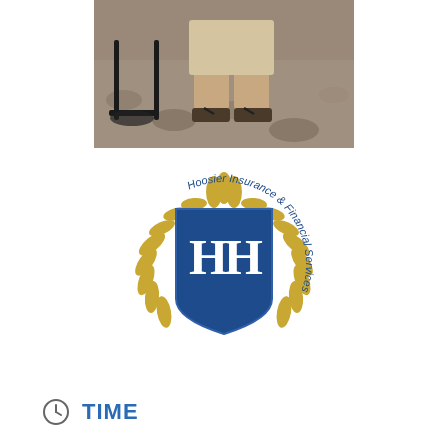[Figure (photo): Partial photo of a person standing on gravel/rock surface, showing lower body with sandals, black metal chair visible]
[Figure (logo): Hoosier Insurance & Financial Services circular logo with blue shield bearing HH initials, surrounded by gold laurel wreath and text 'Hoosier Insurance & Financial Services']
TIME
(Saturday) 10:00 am - 2:00 pm
CALENDAR  GOOGLECAL